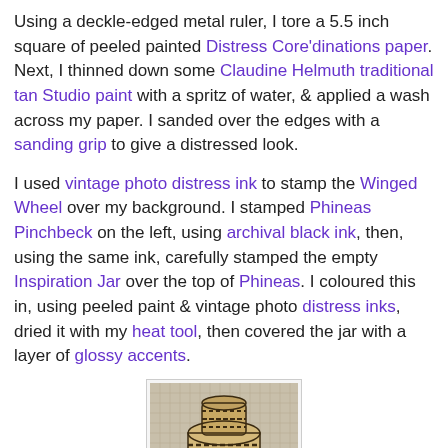Using a deckle-edged metal ruler, I tore a 5.5 inch square of peeled painted Distress Core'dinations paper. Next, I thinned down some Claudine Helmuth traditional tan Studio paint with a spritz of water, & applied a wash across my paper. I sanded over the edges with a sanding grip to give a distressed look.
I used vintage photo distress ink to stamp the Winged Wheel over my background. I stamped Phineas Pinchbeck on the left, using archival black ink, then, using the same ink, carefully stamped the empty Inspiration Jar over the top of Phineas. I coloured this in, using peeled paint & vintage photo distress inks, dried it with my heat tool, then covered the jar with a layer of glossy accents.
[Figure (photo): A photo of a stamped inspiration jar with black and tan distressed coloring on a textured background, shown from above with a decorative border]